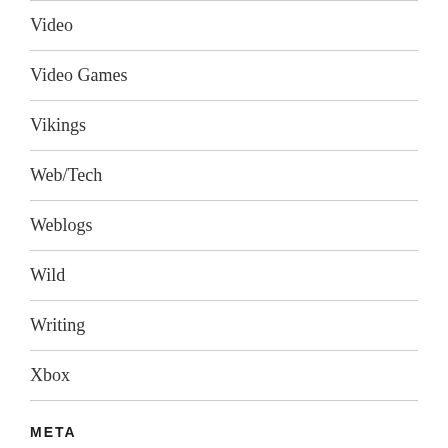Video
Video Games
Vikings
Web/Tech
Weblogs
Wild
Writing
Xbox
META
Log in